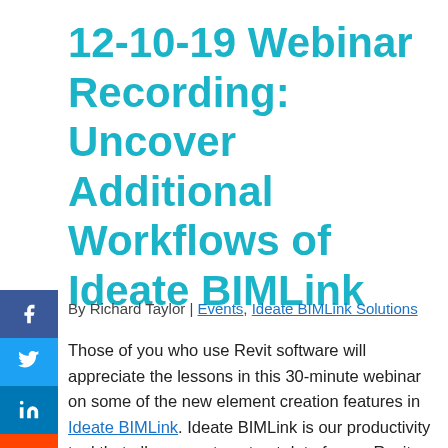12-10-19 Webinar Recording: Uncover Additional Workflows of Ideate BIMLink
[Figure (infographic): Social sharing buttons: Facebook (blue), Twitter (light blue), LinkedIn (dark blue), Reddit (orange), Email (grey)]
By Richard Taylor | Events, Ideate BIMLink Solutions
Those of you who use Revit software will appreciate the lessons in this 30-minute webinar on some of the new element creation features in Ideate BIMLink. Ideate BIMLink is our productivity tool that allows you to extract data from a Revit model, send it to Microsoft Excel where you can review and modify it, and then import it back into Revit with speed, ease, and